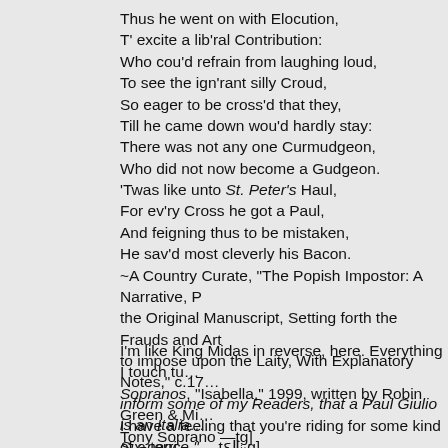Thus he went on with Elocution,
T' excite a lib'ral Contribution:
Who cou'd refrain from laughing loud,
To see the ign'rant silly Croud,
So eager to be cross'd that they,
Till he came down wou'd hardly stay:
There was not any one Curmudgeon,
Who did not now become a Gudgeon.
'Twas like unto St. Peter's Haul,
For ev'ry Cross he got a Paul,
And feigning thus to be mistaken,
He sav'd most cleverly his Bacon.
~A Country Curate, "The Popish Impostor: A Narrative, from the Original Manuscript, Setting forth the Frauds and Arts to impose upon the Laity, With Explanatory Notes," c.17… inform some of my Readers, that a Paul Giulio is an Italia… Six-pence." —tɛ​ǁᵢ·g]
I'm like King Midas in reverse, here. Everything I touch tu… Sopranos, "Isabella," 1999, written by Robin Green & Mi… Tony Soprano —tg]
I have a feeling that you're riding for some kind of a terri…